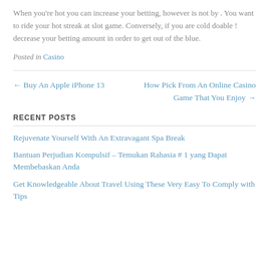When you're hot you can increase your betting, however is not by . You want to ride your hot streak at slot game. Conversely, if you are cold doable ! decrease your betting amount in order to get out of the blue.
Posted in Casino
← Buy An Apple iPhone 13
How Pick From An Online Casino Game That You Enjoy →
RECENT POSTS
Rejuvenate Yourself With An Extravagant Spa Break
Bantuan Perjudian Kompulsif – Temukan Rahasia # 1 yang Dapat Membebaskan Anda
Get Knowledgeable About Travel Using These Very Easy To Comply with Tips